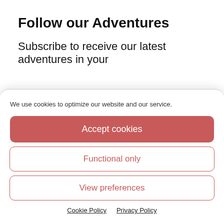Follow our Adventures
Subscribe to receive our latest adventures in your
We use cookies to optimize our website and our service.
Accept cookies
Functional only
View preferences
Cookie Policy   Privacy Policy